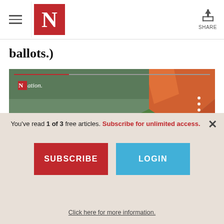The Nation — header with hamburger menu, N logo, and Share button
ballots.)
[Figure (photo): Beach scene with rocky shore, trees in background, figures in foreground, and a geometric orange/green angular shape on the right. The Nation logo appears in the top-left of the image with a red progress bar and navigation dots.]
You've read 1 of 3 free articles. Subscribe for unlimited access.
SUBSCRIBE
LOGIN
Click here for more information.